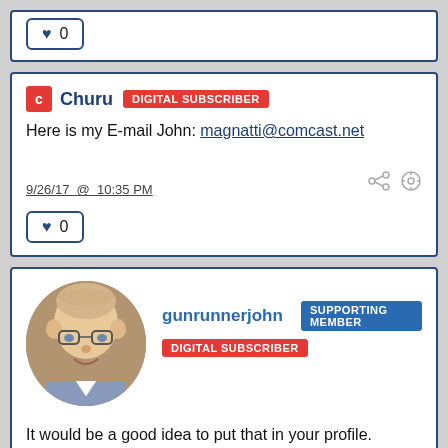0
Churu DIGITAL SUBSCRIBER
Here is my E-mail John: magnatti@comcast.net
9/26/17 @ 10:35 PM
0
[Figure (photo): Profile photo of gunrunnerjohn, a middle-aged bald man with glasses]
gunrunnerjohn SUPPORTING MEMBER
DIGITAL SUBSCRIBER
It would be a good idea to put that in your profile. That way it's not in a public post that anyone can